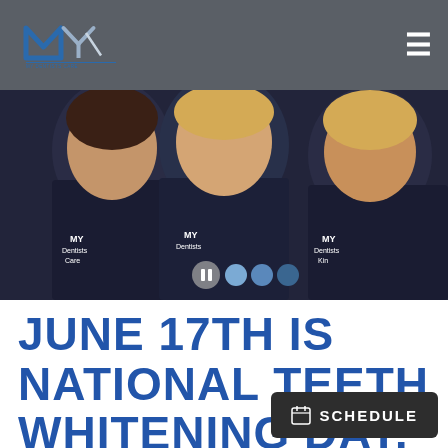[Figure (logo): MY Dentists Care logo with blue M and grey Y lettermark, text below]
[Figure (photo): Three smiling dental staff members wearing dark navy MY Dentists Care uniforms, photo used as hero banner with slideshow controls]
JUNE 17TH IS NATIONAL TEETH WHITENING DAY,
[Figure (other): SCHEDULE button with calendar icon in dark background]